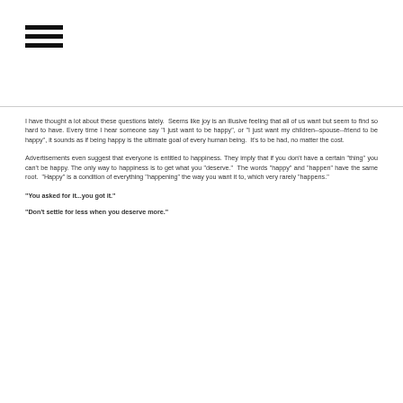[Figure (other): Hamburger menu icon with three horizontal bars]
I have thought a lot about these questions lately.  Seems like joy is an illusive feeling that all of us want but seem to find so hard to have. Every time I hear someone say "I just want to be happy", or "I just want my children--spouse--friend to be happy", it sounds as if being happy is the ultimate goal of every human being.  It's to be had, no matter the cost.
Advertisements even suggest that everyone is entitled to happiness. They imply that if you don't have a certain "thing" you can't be happy. The only way to happiness is to get what you "deserve."  The words "happy" and "happen" have the same root.  "Happy" is a condition of everything "happening" the way you want it to, which very rarely "happens."
"You asked for it...you got it."
"Don't settle for less when you deserve more."